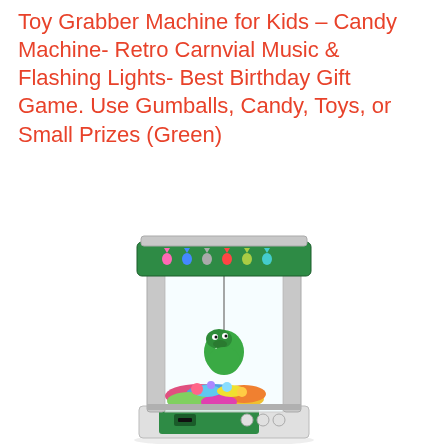Toy Grabber Machine for Kids – Candy Machine- Retro Carnvial Music & Flashing Lights- Best Birthday Gift Game. Use Gumballs, Candy, Toys, or Small Prizes (Green)
[Figure (photo): A green retro-style toy claw/grabber machine filled with colorful small toys and candy. The machine has a green top section with pixel dinosaur stickers, a transparent glass/plastic main compartment with a claw grabber holding a green dinosaur toy figurine above a pile of colorful prizes. Below the compartment is a green base with control buttons and joysticks.]